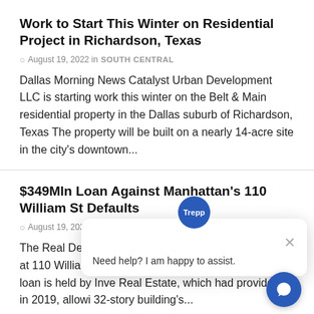Work to Start This Winter on Residential Project in Richardson, Texas
August 19, 2022 in SOUTH CENTRAL
Dallas Morning News Catalyst Urban Development LLC is starting work this winter on the Belt & Main residential property in the Dallas suburb of Richardson, Texas The property will be built on a nearly 14-acre site in the city's downtown...
$349Mln Loan Against Manhattan's 110 William St Defaults
August 19, 2022 in GENERAL NEWS
The Real Deal The $349 m square-foot office building at 110 William St in lower Manhattan has defaulted The loan is held by Inve Real Estate, which had provided it in 2019, allowi 32-story building's...